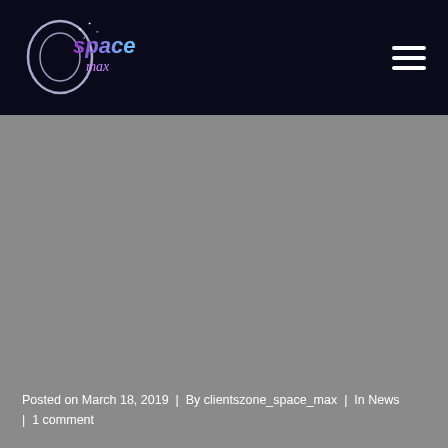space max logo and navigation
[Figure (photo): Large gray placeholder/hero image area]
Posted on March 18, 2019  |  By clientszone_space_max  |  In News  |  1 comment